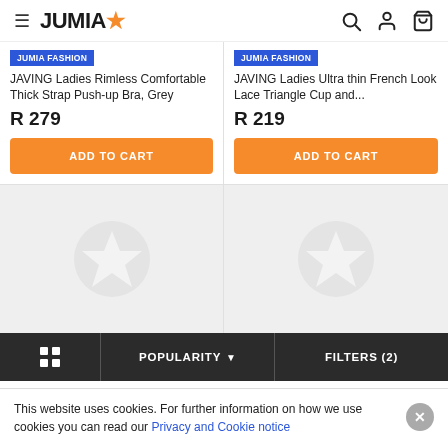JUMIA
JUMIA FASHION
JAVING Ladies Rimless Comfortable Thick Strap Push-up Bra, Grey
R 279
ADD TO CART
JUMIA FASHION
JAVING Ladies Ultra thin French Look Lace Triangle Cup and...
R 219
ADD TO CART
[Figure (other): Loading placeholder cards with star icons]
POPULARITY
FILTERS (2)
This website uses cookies. For further information on how we use cookies you can read our Privacy and Cookie notice